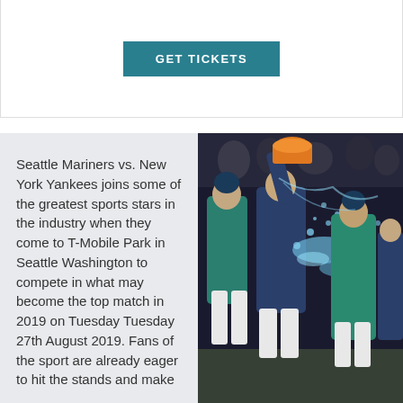[Figure (other): GET TICKETS button in teal/dark cyan color with white bold uppercase text]
Seattle Mariners vs. New York Yankees joins some of the greatest sports stars in the industry when they come to T-Mobile Park in Seattle Washington to compete in what may become the top match in 2019 on Tuesday Tuesday 27th August 2019. Fans of the sport are already eager to hit the stands and make
[Figure (photo): Baseball players celebrating on field, one player dumping an orange bucket of liquid/water on another player, players wearing teal Seattle Mariners uniforms and navy uniforms, nighttime stadium setting]